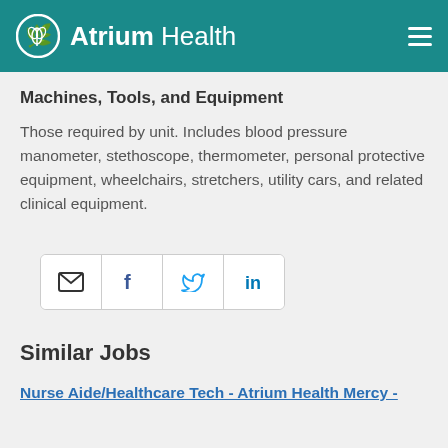Atrium Health
Machines, Tools, and Equipment
Those required by unit. Includes blood pressure manometer, stethoscope, thermometer, personal protective equipment, wheelchairs, stretchers, utility cars, and related clinical equipment.
[Figure (other): Social share buttons: email, Facebook, Twitter, LinkedIn]
Similar Jobs
Nurse Aide/Healthcare Tech - Atrium Health Mercy -